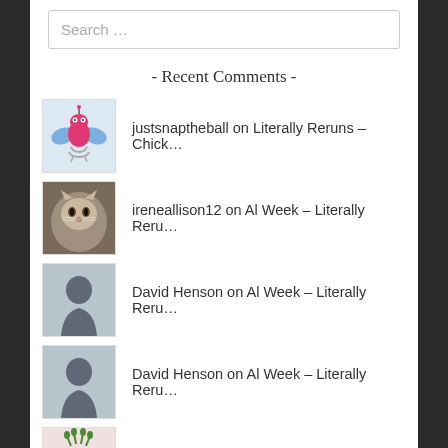Search …
- Recent Comments -
justsnaptheball on Literally Reruns – Chick…
ireneallison12 on Al Week – Literally Reru…
David Henson on Al Week – Literally Reru…
David Henson on Al Week – Literally Reru…
gwencron on Al Week – Literally Reru…
gwencron on Literally Reruns – Chick…